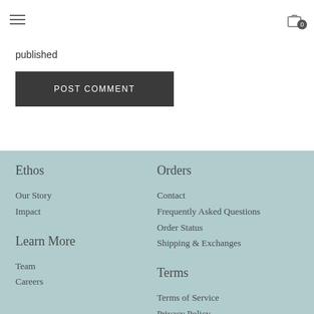Navigation header with hamburger menu and cart icon showing 0 items
published
POST COMMENT
Ethos
Our Story
Impact
Orders
Contact
Frequently Asked Questions
Order Status
Shipping & Exchanges
Learn More
Team
Careers
Terms
Terms of Service
Privacy Policy